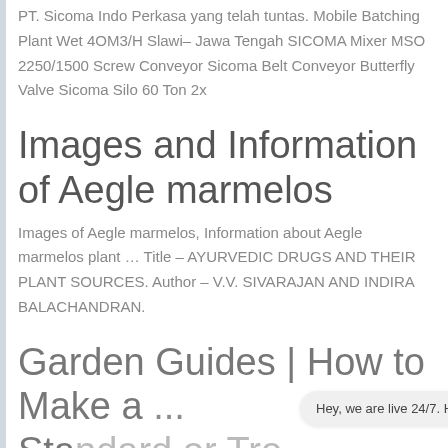PT. Sicoma Indo Perkasa yang telah tuntas. Mobile Batching Plant Wet 40M3/H Slawi– Jawa Tengah SICOMA Mixer MSO 2250/1500 Screw Conveyor Sicoma Belt Conveyor Butterfly Valve Sicoma Silo 60 Ton 2x
Images and Information of Aegle marmelos
Images of Aegle marmelos, Information about Aegle marmelos plant … Title – AYURVEDIC DRUGS AND THEIR PLANT SOURCES. Author – V.V. SIVARAJAN AND INDIRA BALACHANDRAN.
Garden Guides | How to Make a ... Standard or Tree ...